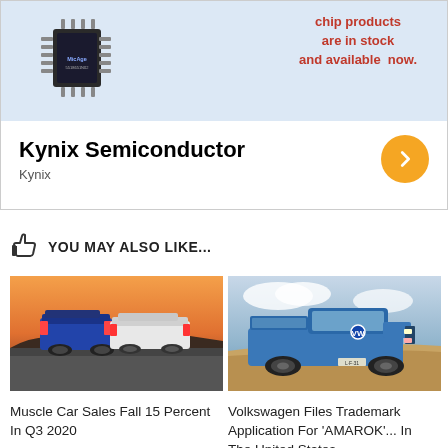[Figure (screenshot): Advertisement banner for Kynix Semiconductor showing a microchip image on light blue background with red text 'chip products are in stock and available now.' and company branding with orange arrow button]
YOU MAY ALSO LIKE...
[Figure (photo): Two muscle cars (Dodge Challengers/Chargers) from behind on a desert road at sunset]
[Figure (photo): Volkswagen Amarok pickup truck on sandy desert terrain]
Muscle Car Sales Fall 15 Percent In Q3 2020
Volkswagen Files Trademark Application For 'AMAROK'... In The United States